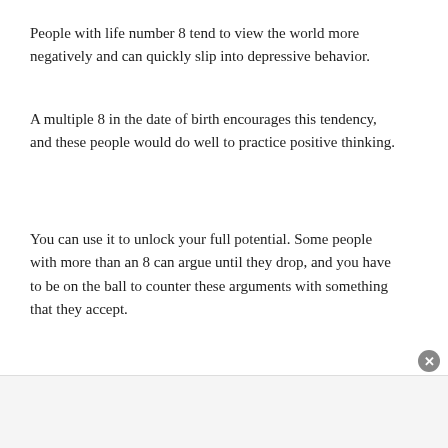People with life number 8 tend to view the world more negatively and can quickly slip into depressive behavior.
A multiple 8 in the date of birth encourages this tendency, and these people would do well to practice positive thinking.
You can use it to unlock your full potential. Some people with more than an 8 can argue until they drop, and you have to be on the ball to counter these arguments with something that they accept.
If there is no 3 in the date of birth, 8 types are not very